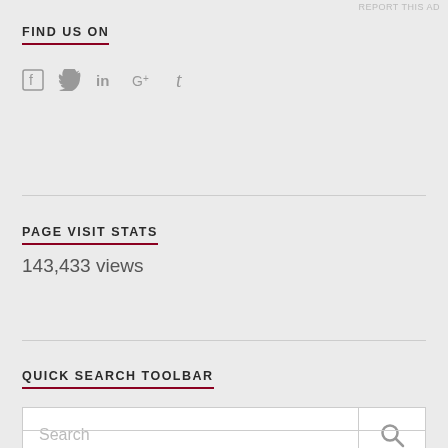REPORT THIS AD
FIND US ON
[Figure (other): Social media icons: Facebook, Twitter, LinkedIn, Google+, Tumblr]
PAGE VISIT STATS
143,433 views
QUICK SEARCH TOOLBAR
[Figure (other): Search toolbar with text input placeholder 'Search' and a search button with magnifying glass icon]